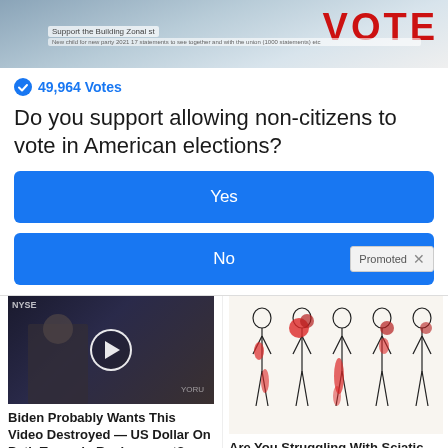[Figure (screenshot): Top image showing a VOTE banner in red bold text on a blue/grey background, with a small bar overlay label at top left]
49,964 Votes
Do you support allowing non-citizens to vote in American elections?
Yes
No
Promoted
[Figure (screenshot): Ad: Video thumbnail of a man in a suit at a news desk with a play button overlay, appears to be a financial news segment]
Biden Probably Wants This Video Destroyed — US Dollar On Path Towards Replacement?
121,320
[Figure (illustration): Medical illustration showing human body figures with red highlighted areas indicating sciatic nerve pain locations]
Are You Struggling With Sciatic Nerve Pain?
3,813